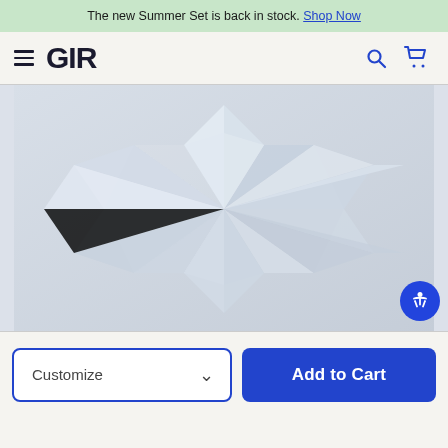The new Summer Set is back in stock. Shop Now
GIR
[Figure (photo): Close-up of white folded geometric paper or silicone material forming sharp angular star-like pattern against light blue-grey background]
Customize
Add to Cart